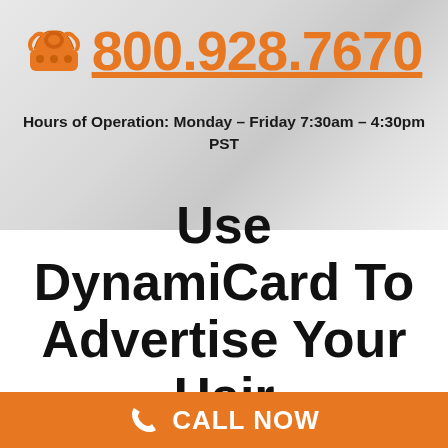📞 800.928.7670
Hours of Operation: Monday – Friday 7:30am – 4:30pm PST
Use DynamiCard To Advertise Your Hair
CALL NOW